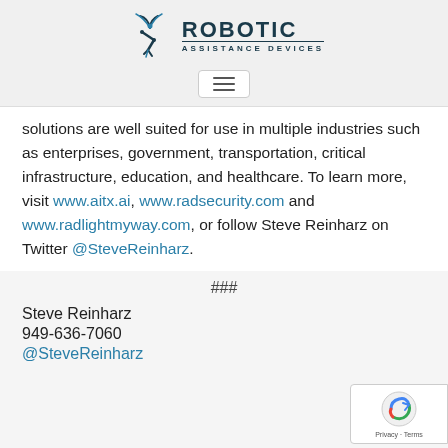[Figure (logo): Robotic Assistance Devices logo with robotic arm and signal icon, text 'ROBOTIC ASSISTANCE DEVICES']
solutions are well suited for use in multiple industries such as enterprises, government, transportation, critical infrastructure, education, and healthcare. To learn more, visit www.aitx.ai, www.radsecurity.com and www.radlightmyway.com, or follow Steve Reinharz on Twitter @SteveReinharz.
###
Steve Reinharz
949-636-7060
@SteveReinharz